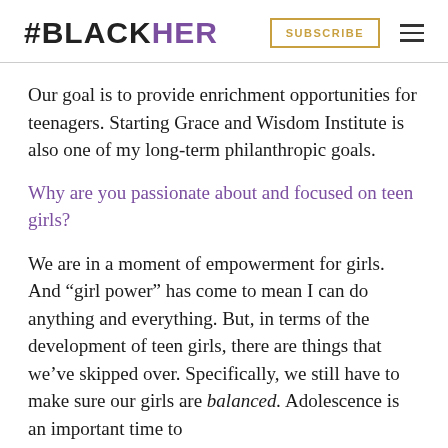#BLACKHER SUBSCRIBE
Our goal is to provide enrichment opportunities for teenagers. Starting Grace and Wisdom Institute is also one of my long-term philanthropic goals.
Why are you passionate about and focused on teen girls?
We are in a moment of empowerment for girls. And “girl power” has come to mean I can do anything and everything. But, in terms of the development of teen girls, there are things that we’ve skipped over. Specifically, we still have to make sure our girls are balanced. Adolescence is an important time to